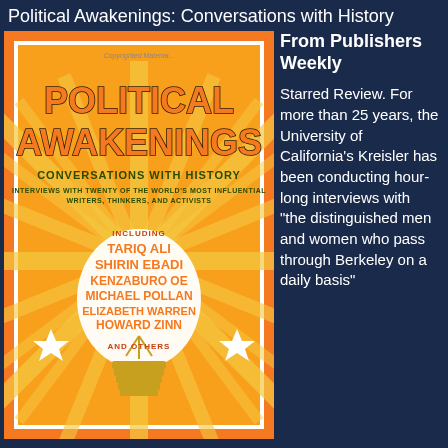Political Awakenings: Conversations with History
[Figure (photo): Book cover of 'Political Awakenings: Conversations with History' featuring a large light bulb graphic on an orange sunburst background. Text includes: POLITICAL AWAKENINGS, CONVERSATIONS WITH HISTORY, INTERVIEWS WITH TWENTY OF THE WORLD'S MOST INFLUENTIAL WRITERS, THINKERS, AND ACTIVISTS. Including: TARIQ ALI, SHIRIN EBADI, KENZABURO OE, MICHAEL POLLAN, ELIZABETH WARREN, HOWARD ZINN, AND OTHERS.]
From Publishers Weekly
Starred Review. For more than 25 years, the University of California's Kreisler has been conducting hour-long interviews with "the distinguished men and women who pass through Berkeley on a daily basis"